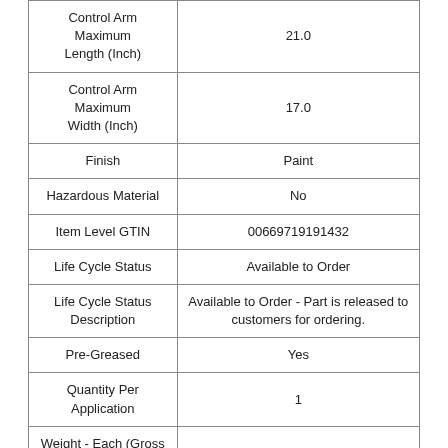| Property | Value |
| --- | --- |
| Control Arm Maximum Length (Inch) | 21.0 |
| Control Arm Maximum Width (Inch) | 17.0 |
| Finish | Paint |
| Hazardous Material | No |
| Item Level GTIN | 00669719191432 |
| Life Cycle Status | Available to Order |
| Life Cycle Status Description | Available to Order - Part is released to customers for ordering. |
| Pre-Greased | Yes |
| Quantity Per Application | 1 |
| Weight - Each (Gross Pounds) | 8.4000 |